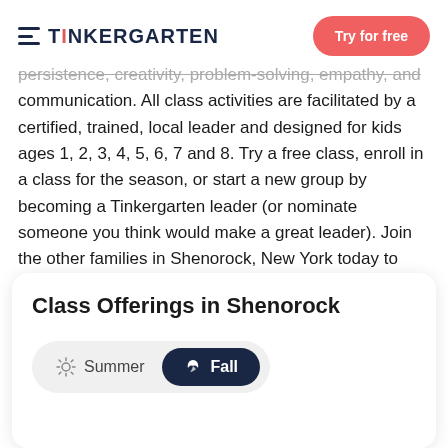TiNKERGARTEN | Try for free
persistence, creativity, problem-solving, empathy, and communication. All class activities are facilitated by a certified, trained, local leader and designed for kids ages 1, 2, 3, 4, 5, 6, 7 and 8. Try a free class, enroll in a class for the season, or start a new group by becoming a Tinkergarten leader (or nominate someone you think would make a great leader). Join the other families in Shenorock, New York today to play and learn outdoors together!
Class Offerings in Shenorock
Summer | Fall